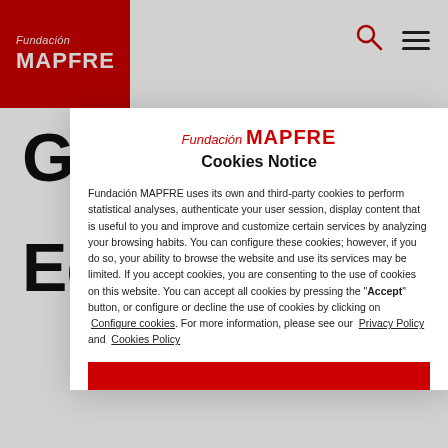Fundación MAPFRE
Ge...re
E...d
Fundación MAPFRE Cookies Notice
Fundación MAPFRE uses its own and third-party cookies to perform statistical analyses, authenticate your user session, display content that is useful to you and improve and customize certain services by analyzing your browsing habits. You can configure these cookies; however, if you do so, your ability to browse the website and use its services may be limited. If you accept cookies, you are consenting to the use of cookies on this website. You can accept all cookies by pressing the "Accept" button, or configure or decline the use of cookies by clicking on Configure cookies. For more information, please see our Privacy Policy and Cookies Policy